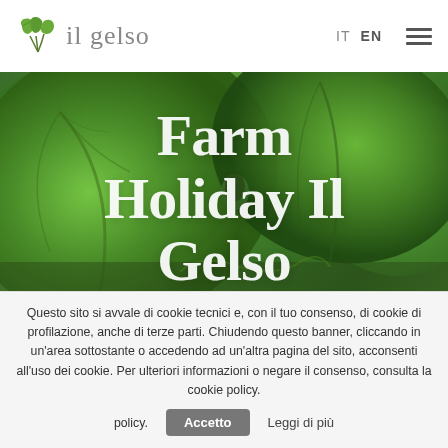il gelso — IT EN ☰
[Figure (photo): Close-up photograph of large green mulberry leaves against a dark green background, serving as hero image for Farm Holiday Il Gelso website]
Farm Holiday Il Gelso
Questo sito si avvale di cookie tecnici e, con il tuo consenso, di cookie di profilazione, anche di terze parti. Chiudendo questo banner, cliccando in un'area sottostante o accedendo ad un'altra pagina del sito, acconsenti all'uso dei cookie. Per ulteriori informazioni o negare il consenso, consulta la cookie policy. Accetto Leggi di più